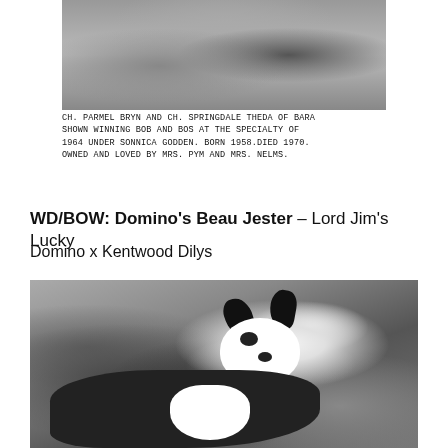[Figure (photo): Black and white photograph (top cropped portion) showing two Cardigan Welsh Corgis lying on grass, CH. Parmel Bryn and CH. Springdale Theda of Bara]
CH. PARMEL BRYN AND CH. SPRINGDALE THEDA OF BARA SHOWN WINNING BOB AND BOS AT THE SPECIALTY OF 1964 UNDER SONNICA GODDEN. BORN 1958.DIED 1970. OWNED AND LOVED BY MRS. PYM AND MRS. NELMS.
WD/BOW: Domino's Beau Jester – Lord Jim's Lucky Domino x Kentwood Dilys
[Figure (photo): Black and white photograph of a Cardigan Welsh Corgi dog, black and white in color, posed facing slightly left with erect ears, white blaze on face]